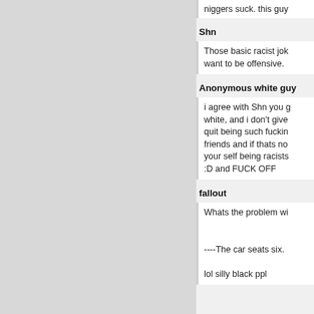niggers suck. this guy
Shn
Those basic racist jok want to be offensive.
Anonymous white guy
i agree with Shn you g white, and i don't give quit being such fuckin friends and if thats no your self being racists :D and FUCK OFF
fallout
Whats the problem wi
----The car seats six.
lol silly black ppl